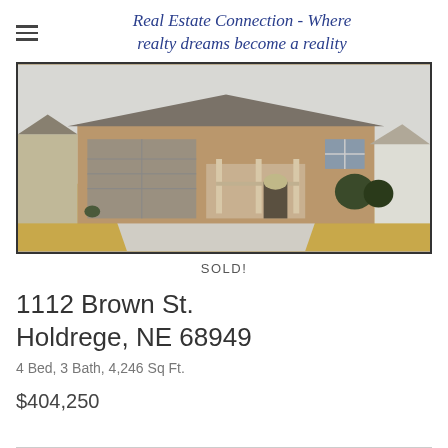Real Estate Connection - Where realty dreams become a reality
[Figure (photo): Front exterior of a single-story brick ranch-style home with two-car garage, covered front porch, concrete driveway, and dormant grass lawn in winter.]
SOLD!
1112 Brown St.
Holdrege, NE 68949
4 Bed, 3 Bath, 4,246 Sq Ft.
$404,250